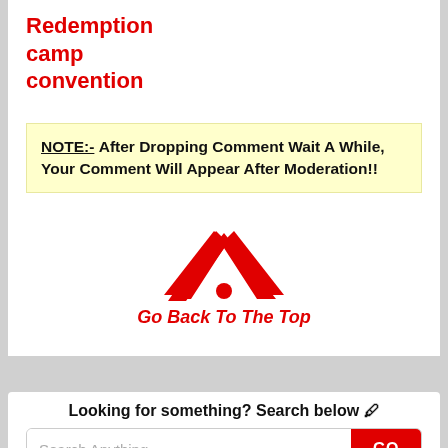Redemption camp convention
NOTE:- After Dropping Comment Wait A While, Your Comment Will Appear After Moderation!!
[Figure (other): Red chevron/caret icon (up arrow made of two angled stripes with a red dot below the apex), used as a 'Go Back To The Top' navigation icon]
Go Back To The Top
Looking for something? Search below 🖊
Search Anything  GO